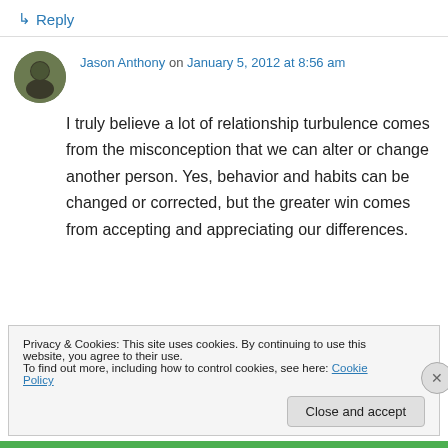↳ Reply
Jason Anthony on January 5, 2012 at 8:56 am
I truly believe a lot of relationship turbulence comes from the misconception that we can alter or change another person. Yes, behavior and habits can be changed or corrected, but the greater win comes from accepting and appreciating our differences.
Privacy & Cookies: This site uses cookies. By continuing to use this website, you agree to their use.
To find out more, including how to control cookies, see here: Cookie Policy
Close and accept